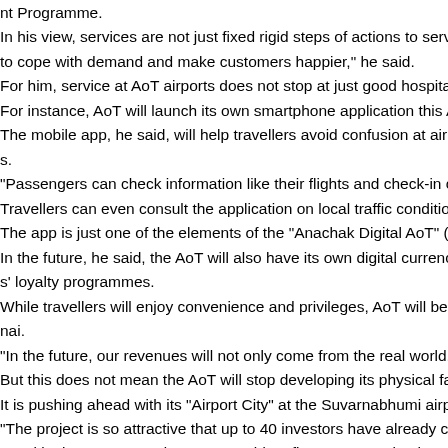nt Programme.
In his view, services are not just fixed rigid steps of actions to serve and i
to cope with demand and make customers happier," he said.
For him, service at AoT airports does not stop at just good hospitality. "Ai
For instance, AoT will launch its own smartphone application this August
The mobile app, he said, will help travellers avoid confusion at airports, b
s.
"Passengers can check information like their flights and check-in counter
Travellers can even consult the application on local traffic conditions to h
The app is just one of the elements of the "Anachak Digital AoT" (Digital
In the future, he said, the AoT will also have its own digital currency for u
s' loyalty programmes.
While travellers will enjoy convenience and privileges, AoT will be able to
nai.
"In the future, our revenues will not only come from the real world. We'll h
But this does not mean the AoT will stop developing its physical facilities
It is pushing ahead with its "Airport City" at the Suvarnabhumi airport, a 1
"The project is so attractive that up to 40 investors have already contacte
Mr Nitinai was promoted as AoT president five years ago by the military g
"In terms of work style, I see myself as a sedan passenger car that can w